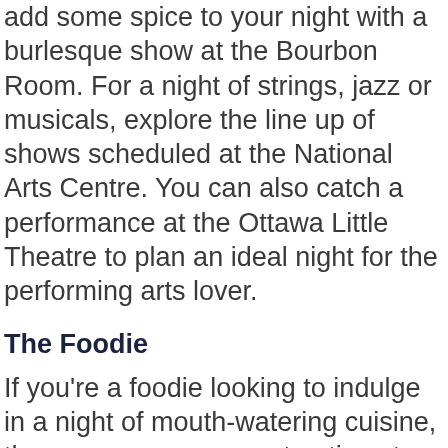add some spice to your night with a burlesque show at the Bourbon Room. For a night of strings, jazz or musicals, explore the line up of shows scheduled at the National Arts Centre. You can also catch a performance at the Ottawa Little Theatre to plan an ideal night for the performing arts lover.
The Foodie
If you're a foodie looking to indulge in a night of mouth-watering cuisine, there are so many great options to choose from. For an impressive menu, cool cocktails, and even live painting performances every Wednesday, Atari on Dalhousie Street is a winner. Alternatively, Chez Lucien offers a cozy, intimate setting with classic French fare like